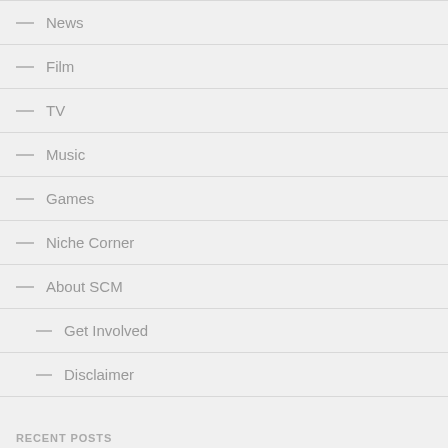— News
— Film
— TV
— Music
— Games
— Niche Corner
— About SCM
— Get Involved
— Disclaimer
RECENT POSTS